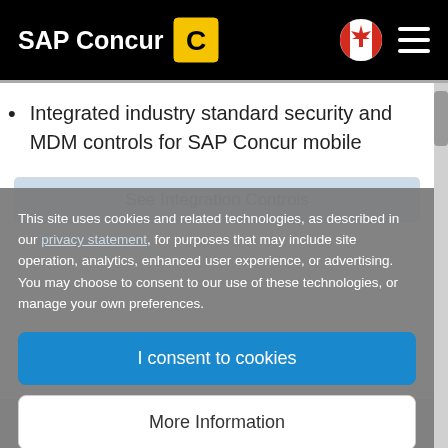SAP Concur
Integrated industry standard security and MDM controls for SAP Concur mobile
This site uses cookies and related technologies, as described in our privacy statement, for purposes that may include site operation, analytics, enhanced user experience, or advertising. You may choose to consent to our use of these technologies, or manage your own preferences.
I consent to cookies
More Information
Privacy Policy